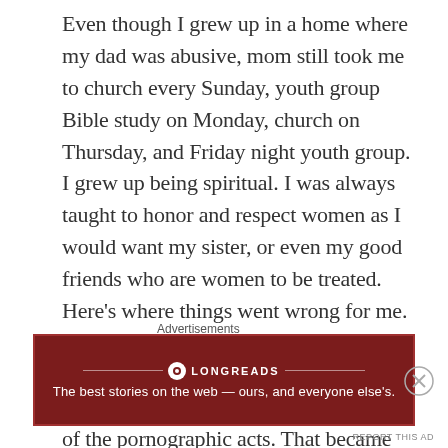Even though I grew up in a home where my dad was abusive, mom still took me to church every Sunday, youth group Bible study on Monday, church on Thursday, and Friday night youth group. I grew up being spiritual. I was always taught to honor and respect women as I would want my sister, or even my good friends who are women to be treated. Here's where things went wrong for me. I was introduced to porn. Once that happened, I not only became addicted to porn, but became addicted to the fantasy of the pornographic acts. That became the "norm" for me many years to follow. It even became a problem within my marriage. It wasn't until I started going to a men's sex addiction group to realize that I did
Advertisements
[Figure (other): Longreads advertisement banner with dark red background. Shows Longreads logo and text: 'The best stories on the web — ours, and everyone else's.']